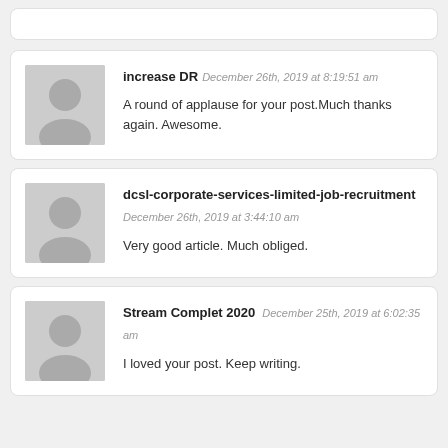increase DR December 26th, 2019 at 8:19:51 am — A round of applause for your post.Much thanks again. Awesome.
dcsl-corporate-services-limited-job-recruitment December 26th, 2019 at 3:44:10 am — Very good article. Much obliged.
Stream Complet 2020 December 25th, 2019 at 6:02:35 am — I loved your post. Keep writing.